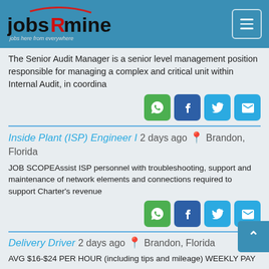[Figure (logo): jobsRmine logo with tagline 'jobs here from everywhere' on teal header background, with hamburger menu icon]
The Senior Audit Manager is a senior level management position responsible for managing a complex and critical unit within Internal Audit, in coordina
Inside Plant (ISP) Engineer I 2 days ago Brandon, Florida
JOB SCOPEAssist ISP personnel with troubleshooting, support and maintenance of network elements and connections required to support Charter's revenue
Delivery Driver 2 days ago Brandon, Florida
AVG $16-$24 PER HOUR (including tips and mileage) WEEKLY PAY